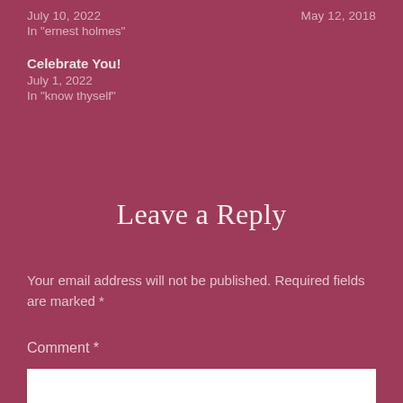July 10, 2022
May 12, 2018
In "ernest holmes"
Celebrate You!
July 1, 2022
In "know thyself"
Leave a Reply
Your email address will not be published. Required fields are marked *
Comment *